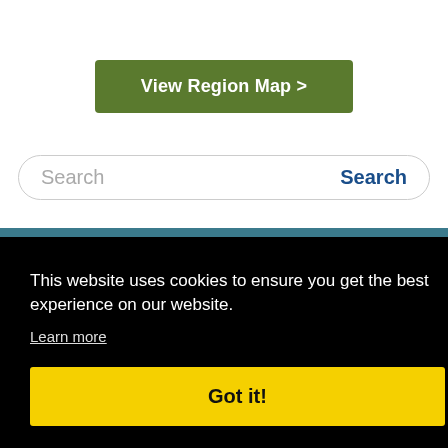[Figure (other): Green button labeled 'View Region Map >' centered on white background]
[Figure (other): Search bar with placeholder text 'Search' and blue 'Search' button on right]
[Figure (other): Teal/dark blue horizontal band below search bar]
This website uses cookies to ensure you get the best experience on our website.
Learn more
[Figure (other): Yellow 'Got it!' cookie consent button]
Saskatoon & Area
(21)